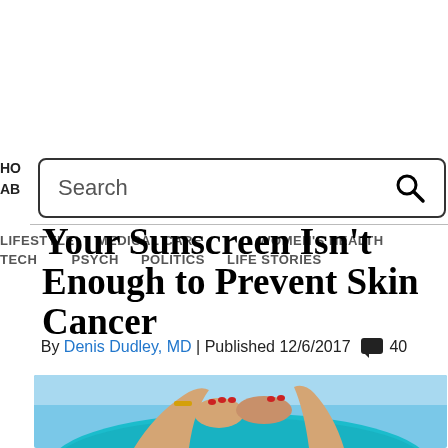HO
AB
[Figure (screenshot): Search bar with magnifying glass icon]
LIFESTYLE   MEDICAL CARE   WOMEN'S HEALTH
TECH   PSYCH   POLITICS   LIFE STORIES
Your Sunscreen Isn't Enough to Prevent Skin Cancer
By Denis Dudley, MD | Published 12/6/2017 💬 40
[Figure (photo): Woman holding a teal/turquoise sun hat from behind, arms raised, wearing a gold bracelet, red nail polish, against a blue sky background]